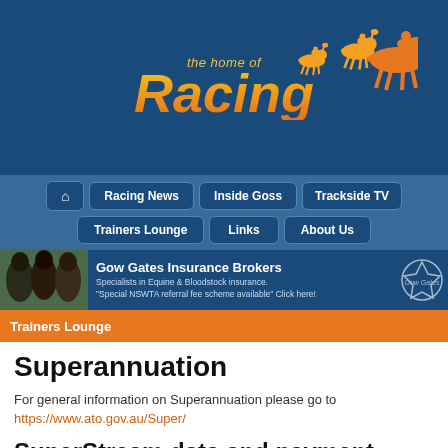[Figure (logo): The home of Racing logo with horse silhouettes on dark blue background]
[Figure (infographic): Navigation bar with Home, Racing News, Inside Goss, Trackside TV, Trainers Lounge, Links, About Us buttons on blue background]
[Figure (photo): Gow Gates Insurance Brokers advertisement banner with horses photo and logo]
Trainers Lounge
Superannuation
For general information on Superannuation please go to https://www.ato.gov.au/Super/
SuperStream data and payment standard